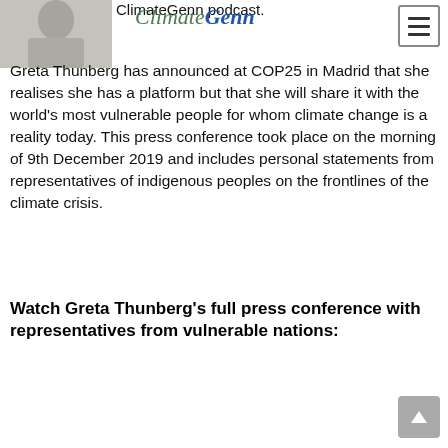[Figure (photo): Black and white portrait photo of a person, cropped at top-left corner]
ClimateGenn podcast.
ClimateGenn
Greta Thunberg has announced at COP25 in Madrid that she realises she has a platform but that she will share it with the world's most vulnerable people for whom climate change is a reality today. This press conference took place on the morning of 9th December 2019 and includes personal statements from representatives of indigenous peoples on the frontlines of the climate crisis.
Watch Greta Thunberg's full press conference with representatives from vulnerable nations: